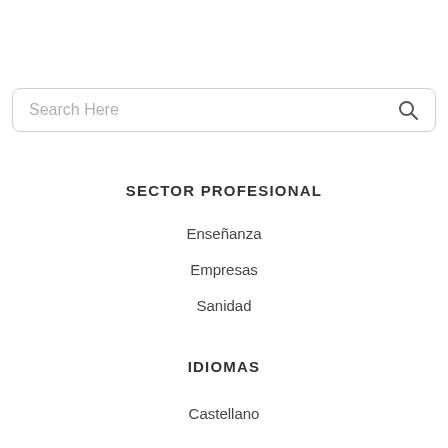[Figure (other): Search bar with 'Search Here' placeholder text and a search icon on the right]
SECTOR PROFESIONAL
Enseñanza
Empresas
Sanidad
IDIOMAS
Castellano